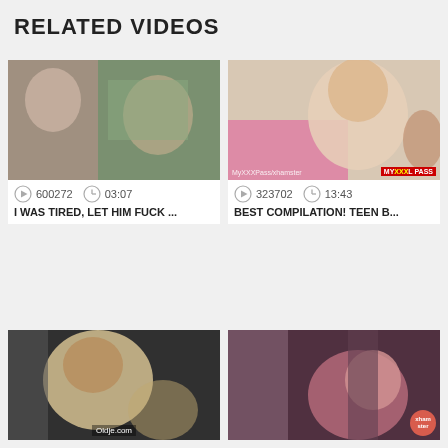RELATED VIDEOS
[Figure (photo): Video thumbnail 1 - video still]
600272   03:07
I WAS TIRED, LET HIM FUCK ...
[Figure (photo): Video thumbnail 2 - video still with MY XXX PASS badge]
323702   13:43
BEST COMPILATION! TEEN B...
[Figure (photo): Video thumbnail 3 - video still with Oldje.com label]
[Figure (photo): Video thumbnail 4 - video still with hamster badge]